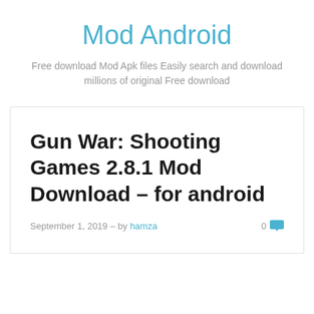Mod Android
Free download Mod Apk files Easily search and download millions of original Free download
Gun War: Shooting Games 2.8.1 Mod Download – for android
September 1, 2019 – by hamza   0